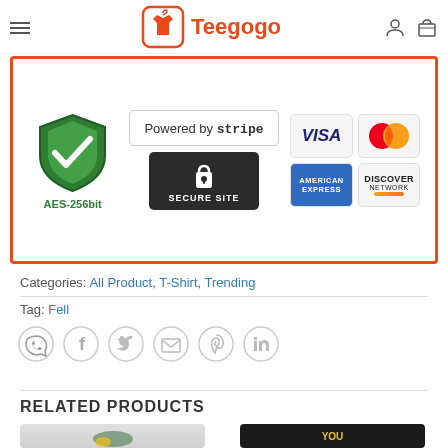[Figure (screenshot): Teegogo e-commerce website header with hamburger menu, Teegogo logo (t-shirt icon in red), user icon and shopping cart icon]
[Figure (infographic): Secure checkout guarantee banner showing: AES-256bit green shield checkmark, Powered by stripe secure site badge, VISA, Mastercard, American Express, and Discover Network payment icons, all within an orange/red border]
Categories: All Product, T-Shirt, Trending
Tag: Fell
[Figure (infographic): Social sharing icons row: WhatsApp, Facebook, Twitter, Email, Pinterest, LinkedIn — all circular grey outlined icons]
RELATED PRODUCTS
[Figure (photo): White t-shirt product thumbnail with green/yellow graphic design at bottom]
[Figure (photo): Black t-shirt product thumbnail with yellow graphic and YOU text visible]